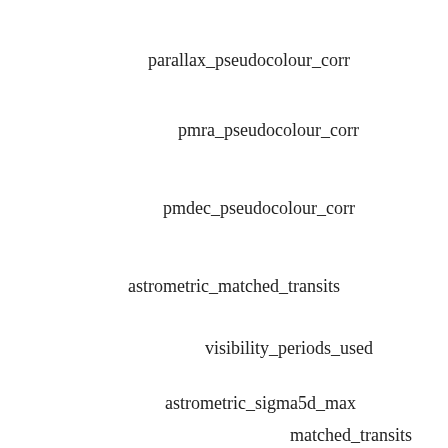parallax_pseudocolour_corr
pmra_pseudocolour_corr
pmdec_pseudocolour_corr
astrometric_matched_transits
visibility_periods_used
astrometric_sigma5d_max
1.4028
matched_transits